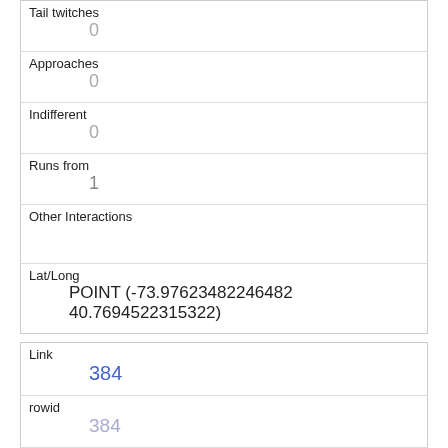| Tail twitches | 0 |
| Approaches | 0 |
| Indifferent | 0 |
| Runs from | 1 |
| Other Interactions |  |
| Lat/Long | POINT (-73.97623482246482 40.7694522315322) |
| Link | 384 |
| rowid | 384 |
| longitude | -73.968045072743 |
| latitude |  |